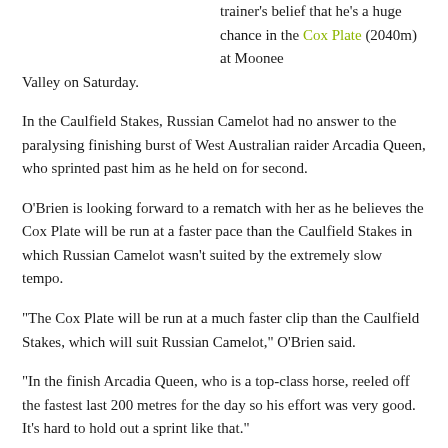trainer's belief that he's a huge chance in the Cox Plate (2040m) at Moonee Valley on Saturday.
In the Caulfield Stakes, Russian Camelot had no answer to the paralysing finishing burst of West Australian raider Arcadia Queen, who sprinted past him as he held on for second.
O'Brien is looking forward to a rematch with her as he believes the Cox Plate will be run at a faster pace than the Caulfield Stakes in which Russian Camelot wasn't suited by the extremely slow tempo.
“The Cox Plate will be run at a much faster clip than the Caulfield Stakes, which will suit Russian Camelot,” O’Brien said.
“In the finish Arcadia Queen, who is a top-class horse, reeled off the fastest last 200 metres for the day so his effort was very good. It's hard to hold out a sprint like that.”